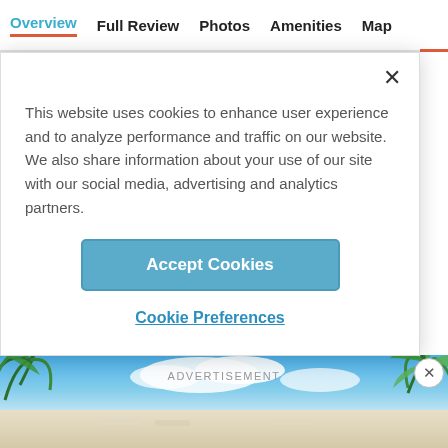Overview  Full Review  Photos  Amenities  Map
This website uses cookies to enhance user experience and to analyze performance and traffic on our website. We also share information about your use of our site with our social media, advertising and analytics partners.
Accept Cookies
Cookie Preferences
[Figure (photo): Beach scene with tropical palm trees and white sandy beach under a blue sky, with lounge chairs visible]
ADVERTISEMENT